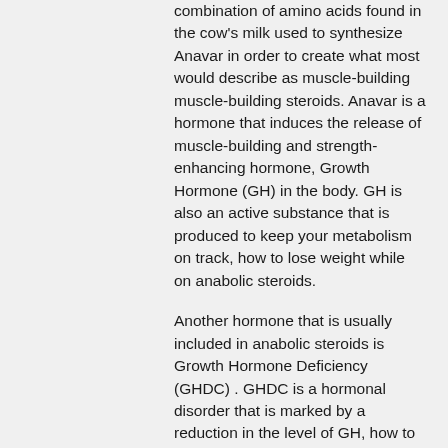combination of amino acids found in the cow's milk used to synthesize Anavar in order to create what most would describe as muscle-building muscle-building steroids. Anavar is a hormone that induces the release of muscle-building and strength-enhancing hormone, Growth Hormone (GH) in the body. GH is also an active substance that is produced to keep your metabolism on track, how to lose weight while on anabolic steroids.
Another hormone that is usually included in anabolic steroids is Growth Hormone Deficiency (GHDC) . GHDC is a hormonal disorder that is marked by a reduction in the level of GH, how to use peptides for fat loss. When the level of GH is low, a person can become hypocaloric meaning that the person has a less-than-normal eating or exercise schedule. This condition is also referred to as being off diet or on a sedentary schedule.